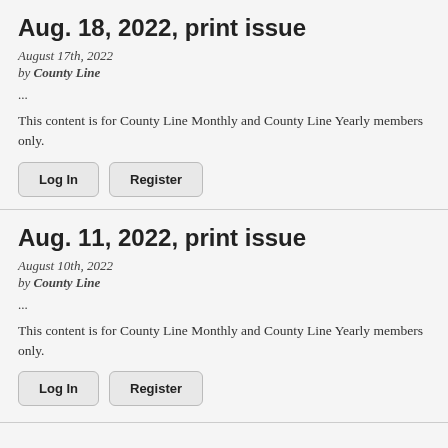Aug. 18, 2022, print issue
August 17th, 2022
by County Line
...
This content is for County Line Monthly and County Line Yearly members only.
Log In
Register
Aug. 11, 2022, print issue
August 10th, 2022
by County Line
...
This content is for County Line Monthly and County Line Yearly members only.
Log In
Register